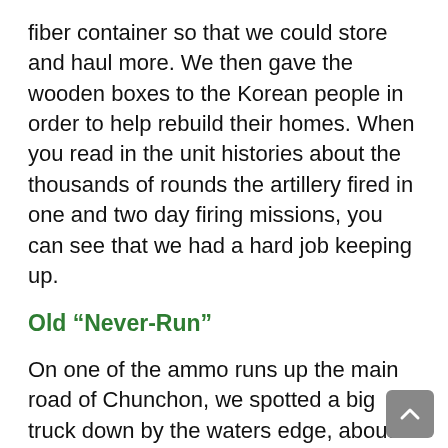fiber container so that we could store and haul more. We then gave the wooden boxes to the Korean people in order to help rebuild their homes. When you read in the unit histories about the thousands of rounds the artillery fired in one and two day firing missions, you can see that we had a hard job keeping up.
Old “Never-Run”
On one of the ammo runs up the main road of Chunchon, we spotted a big truck down by the waters edge, about 300 feet down off the edge of the dugway. We told the motor section about it because we were always looking for truck parts to keep everything running. I believe they used the tank retriever and the other big truck wrecker to pull it up onto the road and move it back to Service Battery to work on it. She looked pretty bad because it had been an old two-boom